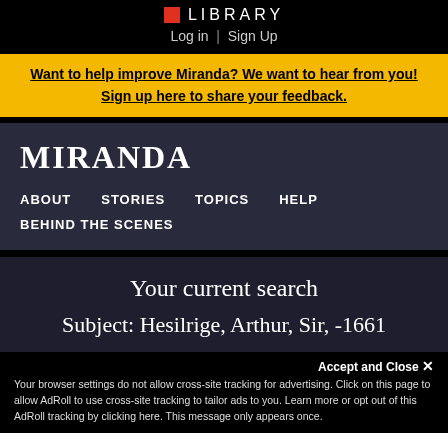LIBRARY | Log in | Sign Up
Want to help improve Miranda? We want to hear from you! Sign up here to share your feedback.
MIRANDA
ABOUT
STORIES
TOPICS
HELP
BEHIND THE SCENES
Your current search
Subject: Hesilrige, Arthur, Sir, -1661
Your browser settings do not allow cross-site tracking for advertising. Click on this page to allow AdRoll to use cross-site tracking to tailor ads to you. Learn more or opt out of this AdRoll tracking by clicking here. This message only appears once.